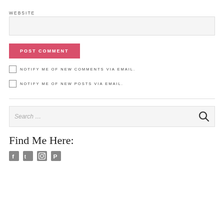WEBSITE
[Figure (other): Text input box for website URL]
[Figure (other): POST COMMENT button in red/pink]
NOTIFY ME OF NEW COMMENTS VIA EMAIL.
NOTIFY ME OF NEW POSTS VIA EMAIL.
[Figure (other): Search box with search icon]
Find Me Here:
[Figure (other): Social media icons: Facebook, Twitter, Instagram, Pinterest]